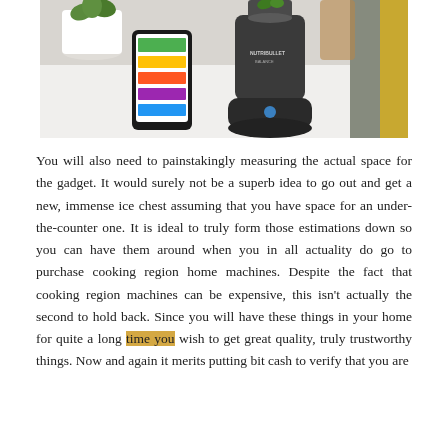[Figure (photo): Photo of a NutriBullet blender on a white countertop next to a smartphone displaying a colorful app interface, with a green plant in the background and a person in a yellow jacket partially visible on the right.]
You will also need to painstakingly measuring the actual space for the gadget. It would surely not be a superb idea to go out and get a new, immense ice chest assuming that you have space for an under-the-counter one. It is ideal to truly form those estimations down so you can have them around when you in all actuality do go to purchase cooking region home machines. Despite the fact that cooking region machines can be expensive, this isn't actually the second to hold back. Since you will have these things in your home for quite a long time you wish to get great quality, truly trustworthy things. Now and again it merits putting bit cash to verify that you are